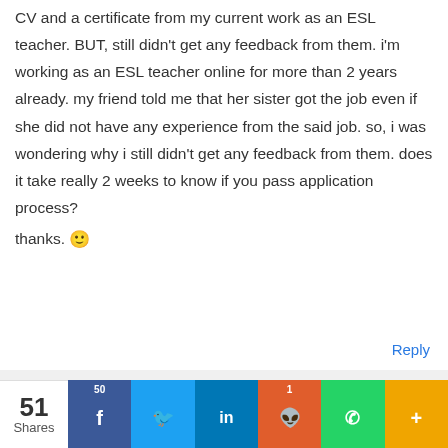CV and a certificate from my current work as an ESL teacher. BUT, still didn't get any feedback from them. i'm working as an ESL teacher online for more than 2 years already. my friend told me that her sister got the job even if she did not have any experience from the said job. so, i was wondering why i still didn't get any feedback from them. does it take really 2 weeks to know if you pass application process?

thanks. 🙂
Reply
TERRTHECOOL MEGA
51 Shares
50 Facebook
Twitter
LinkedIn
1 Reddit
WhatsApp
More